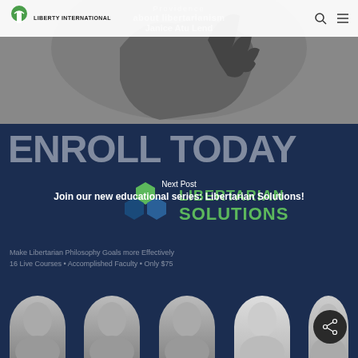[Figure (screenshot): Liberty International website screenshot showing navbar with logo, hero image of person with raised hand, dark navy blue enrollment banner with ENROLL TODAY text, Libertarian Solutions logo, Next Post navigation, and faculty photo row at bottom]
Liberty International
ENROLL TODAY
[Figure (logo): Libertarian Solutions hexagon logo with green and blue hexagons and text LIBERTARIAN SOLUTIONS]
Next Post
Join our new educational series: Libertarian Solutions!
16 Live Courses • Accomplished Faculty • Only $75